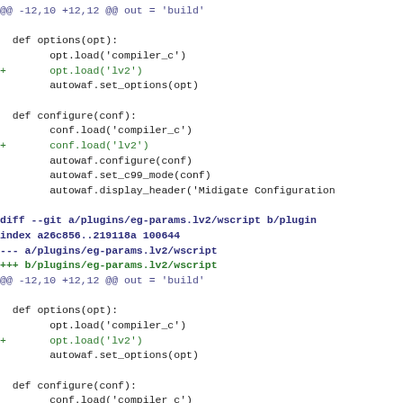Diff code block showing git diff output for plugins/eg-params.lv2/wscript with added lv2 load lines